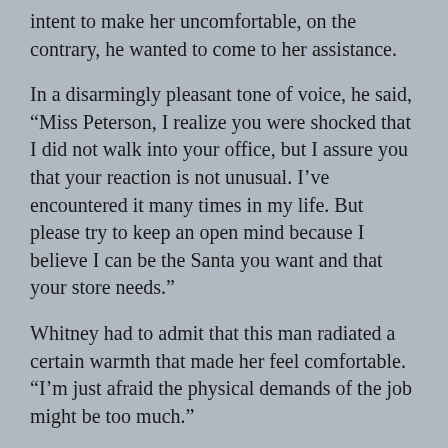intent to make her uncomfortable, on the contrary, he wanted to come to her assistance.
In a disarmingly pleasant tone of voice, he said, “Miss Peterson, I realize you were shocked that I did not walk into your office, but I assure you that your reaction is not unusual. I’ve encountered it many times in my life. But please try to keep an open mind because I believe I can be the Santa you want and that your store needs.”
Whitney had to admit that this man radiated a certain warmth that made her feel comfortable. “I’m just afraid the physical demands of the job might be too much.”
That made Douglas smile again. “The main physical requirement of being Santa is sitting